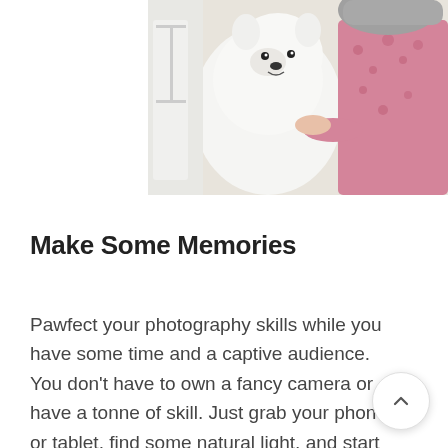[Figure (photo): A person in pink floral pajamas holding/petting a fluffy white dog (appears to be a Spitz or Samoyed breed) against a light-colored wall background. Only partial view — cropped at top of image.]
Make Some Memories
Pawfect your photography skills while you have some time and a captive audience. You don't have to own a fancy camera or have a tonne of skill. Just grab your phone or tablet, find some natural light, and start playing. A good beginner trick is to simply keep shooting… get as many frames as you can. Most dogs are never still for very long, so snap lots of pictures while